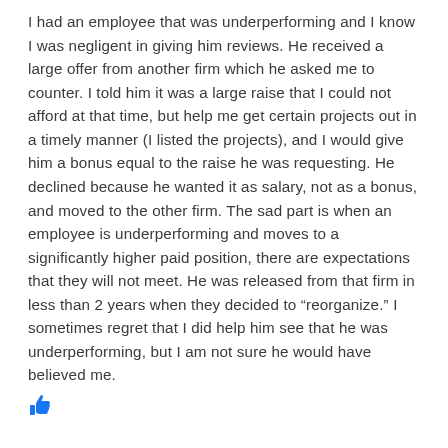I had an employee that was underperforming and I know I was negligent in giving him reviews. He received a large offer from another firm which he asked me to counter. I told him it was a large raise that I could not afford at that time, but help me get certain projects out in a timely manner (I listed the projects), and I would give him a bonus equal to the raise he was requesting. He declined because he wanted it as salary, not as a bonus, and moved to the other firm. The sad part is when an employee is underperforming and moves to a significantly higher paid position, there are expectations that they will not meet. He was released from that firm in less than 2 years when they decided to "reorganize." I sometimes regret that I did help him see that he was underperforming, but I am not sure he would have believed me.
[Figure (other): Thumbs up emoji icon in blue]